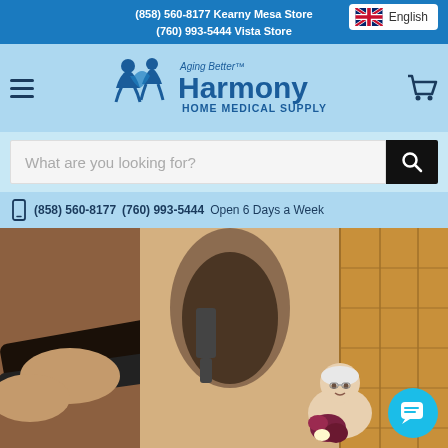(858) 560-8177 Kearny Mesa Store
(760) 993-5444 Vista Store
English
[Figure (logo): Harmony Home Medical Supply logo with 'Aging Better' tagline, showing two figures]
What are you looking for?
(858) 560-8177   (760) 993-5444   Open 6 Days a Week
[Figure (photo): Elderly woman at bottom of spiral staircase holding flowers, with stairlift railing visible in foreground]